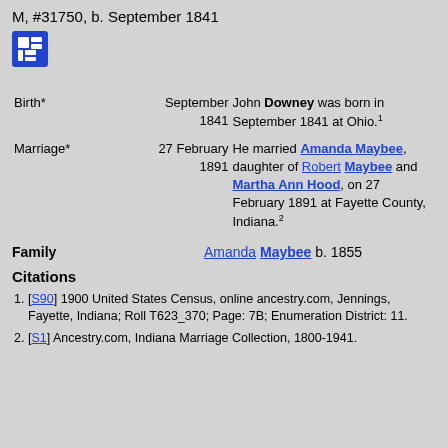M, #31750, b. September 1841
| Event | Date | Description |
| --- | --- | --- |
| Birth* | September 1841 | John Downey was born in September 1841 at Ohio.1 |
| Marriage* | 27 February 1891 | He married Amanda Maybee, daughter of Robert Maybee and Martha Ann Hood, on 27 February 1891 at Fayette County, Indiana.2 |
Family   Amanda Maybee b. 1855
Citations
[S90] 1900 United States Census, online ancestry.com, Jennings, Fayette, Indiana; Roll T623_370; Page: 7B; Enumeration District: 11.
[S1] Ancestry.com, Indiana Marriage Collection, 1800-1941.